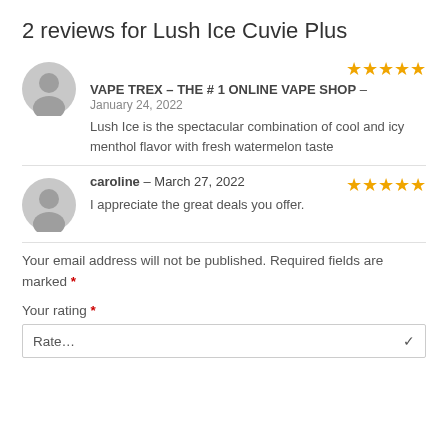2 reviews for Lush Ice Cuvie Plus
VAPE TREX – THE # 1 ONLINE VAPE SHOP – January 24, 2022
Lush Ice is the spectacular combination of cool and icy menthol flavor with fresh watermelon taste
caroline – March 27, 2022
I appreciate the great deals you offer.
Your email address will not be published. Required fields are marked *
Your rating *
Rate...